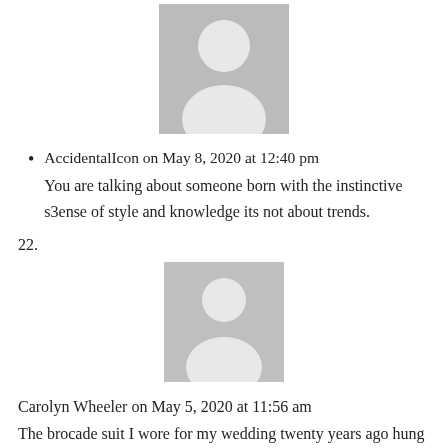[Figure (illustration): Generic user avatar placeholder image (grey background with white silhouette person icon)]
AccidentalIcon on May 8, 2020 at 12:40 pm
You are talking about someone born with the instinctive s3ense of style and knowledge its not about trends.
22.
[Figure (illustration): Generic user avatar placeholder image (grey background with white silhouette person icon)]
Carolyn Wheeler on May 5, 2020 at 11:56 am
The brocade suit I wore for my wedding twenty years ago hung in my closet for many years after it's singular appearance. The jacket buttons are covered in jet beads and the cuffs